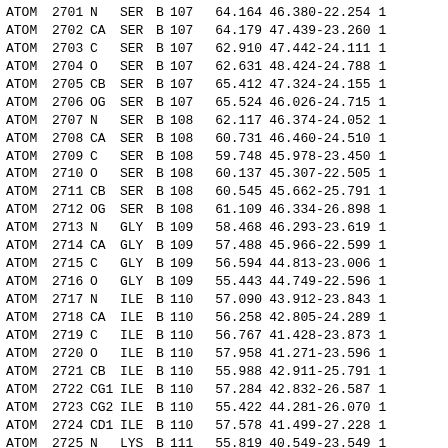| Record | Serial | Atom | Res | Chain | ResSeq |  | X | Y | Z | ... |
| --- | --- | --- | --- | --- | --- | --- | --- | --- | --- | --- |
| ATOM | 2701 | N | SER | B | 107 |  | 64.164 | 46.380 | -22.254 | 1 |
| ATOM | 2702 | CA | SER | B | 107 |  | 64.179 | 47.439 | -23.260 | 1 |
| ATOM | 2703 | C | SER | B | 107 |  | 62.910 | 47.442 | -24.111 | 1 |
| ATOM | 2704 | O | SER | B | 107 |  | 62.631 | 48.424 | -24.788 | 1 |
| ATOM | 2705 | CB | SER | B | 107 |  | 65.412 | 47.324 | -24.155 | 1 |
| ATOM | 2706 | OG | SER | B | 107 |  | 65.524 | 46.026 | -24.715 | 1 |
| ATOM | 2707 | N | SER | B | 108 |  | 62.117 | 46.374 | -24.052 | 1 |
| ATOM | 2708 | CA | SER | B | 108 |  | 60.731 | 46.460 | -24.510 | 1 |
| ATOM | 2709 | C | SER | B | 108 |  | 59.748 | 45.978 | -23.450 | 1 |
| ATOM | 2710 | O | SER | B | 108 |  | 60.137 | 45.307 | -22.505 | 1 |
| ATOM | 2711 | CB | SER | B | 108 |  | 60.545 | 45.662 | -25.791 | 1 |
| ATOM | 2712 | OG | SER | B | 108 |  | 61.109 | 46.334 | -26.898 | 1 |
| ATOM | 2713 | N | GLY | B | 109 |  | 58.468 | 46.293 | -23.619 | 1 |
| ATOM | 2714 | CA | GLY | B | 109 |  | 57.488 | 45.966 | -22.599 | 1 |
| ATOM | 2715 | C | GLY | B | 109 |  | 56.594 | 44.813 | -23.006 | 1 |
| ATOM | 2716 | O | GLY | B | 109 |  | 55.443 | 44.749 | -22.596 | 1 |
| ATOM | 2717 | N | ILE | B | 110 |  | 57.090 | 43.912 | -23.843 | 1 |
| ATOM | 2718 | CA | ILE | B | 110 |  | 56.258 | 42.805 | -24.289 | 1 |
| ATOM | 2719 | C | ILE | B | 110 |  | 56.767 | 41.428 | -23.873 | 1 |
| ATOM | 2720 | O | ILE | B | 110 |  | 57.958 | 41.271 | -23.596 | 1 |
| ATOM | 2721 | CB | ILE | B | 110 |  | 55.988 | 42.911 | -25.791 | 1 |
| ATOM | 2722 | CG1 | ILE | B | 110 |  | 57.284 | 42.832 | -26.587 | 1 |
| ATOM | 2723 | CG2 | ILE | B | 110 |  | 55.422 | 44.281 | -26.070 | 1 |
| ATOM | 2724 | CD1 | ILE | B | 110 |  | 57.578 | 41.499 | -27.228 | 1 |
| ATOM | 2725 | N | LYS | B | 111 |  | 55.819 | 40.549 | -23.549 | 1 |
| ATOM | 2726 | CA | LYS | B | 111 |  | 56.094 | 39.171 | -23.143 | 1 |
| ATOM | 2727 | C | LYS | B | 111 |  | 57.285 | 38.602 | -23.940 | 1 |
| ATOM | 2728 | O | LYS | B | 111 |  | 57.316 | 38.721 | -25.139 | 1 |
| ATOM | 2729 | CB | LYS | B | 111 |  | 54.806 | 38.384 | -23.423 | 1 |
| ATOM | 2730 | CG | LYS | B | 111 |  | 54.665 | 36.959 | -22.884 | 1 |